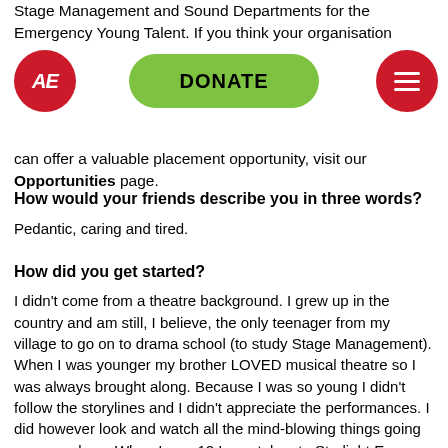Stage Management and Sound Departments for the Emergency Young Talent. If you think your organisation can offer a valuable placement opportunity, visit our Opportunities page.
[Figure (logo): AE logo - red circle with white italic AE text]
[Figure (other): Green donate button with bold DONATE text]
[Figure (other): Red circle with white hamburger menu lines]
How would your friends describe you in three words?
Pedantic, caring and tired.
How did you get started?
I didn't come from a theatre background. I grew up in the country and am still, I believe, the only teenager from my village to go on to drama school (to study Stage Management). When I was younger my brother LOVED musical theatre so I was always brought along. Because I was so young I didn't follow the storylines and I didn't appreciate the performances. I did however look and watch all the mind-blowing things going on around me. When I was 12 I was taken to Starlight Express (absolute guilty pleasure of mine now) and I remember watching all these actors flying around me on roller skates and I